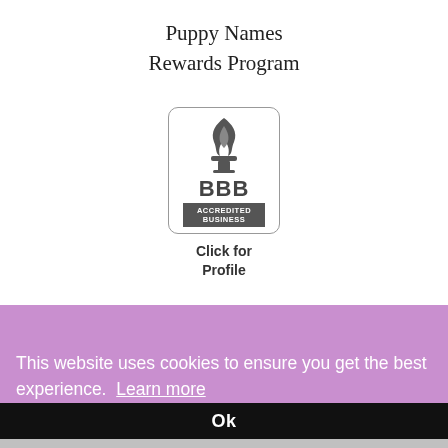Puppy Names
Rewards Program
[Figure (logo): BBB Accredited Business badge with torch logo, text BBB ACCREDITED BUSINESS, and 'Click for Profile' text below]
This website uses cookies to ensure you get the best experience. Learn more
Ok